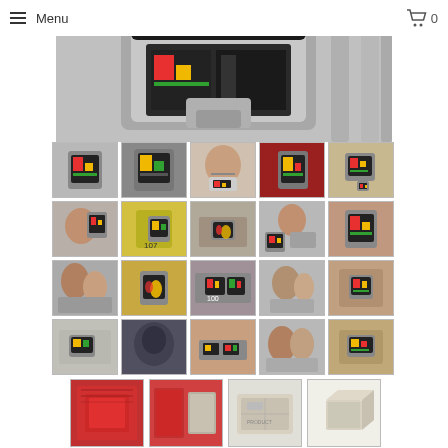Menu  0
[Figure (photo): Close-up of a metallic smartwatch-like device showing a yellow/black danger stripe label at top, silver body with brushed metal finish]
[Figure (photo): Grid of 20 thumbnail product photos showing smartwatch device from various angles and with people wearing/holding it]
[Figure (photo): Row of 4 larger bottom thumbnail photos showing product packaging boxes - red boxes and plain cardboard boxes]